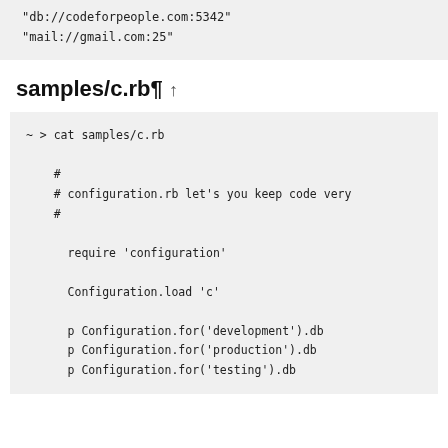"db://codeforpeople.com:5342"
"mail://gmail.com:25"
samples/c.rb¶ ↑
~ > cat samples/c.rb

    #
    # configuration.rb let's you keep code very
    #

      require 'configuration'

      Configuration.load 'c'

      p Configuration.for('development').db
      p Configuration.for('production').db
      p Configuration.for('testing').db